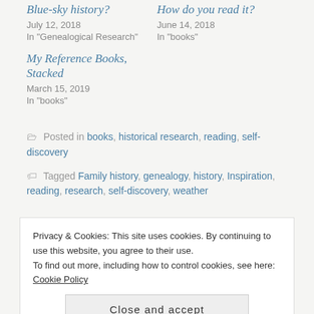Blue-sky history?
July 12, 2018
In "Genealogical Research"
How do you read it?
June 14, 2018
In "books"
My Reference Books, Stacked
March 15, 2019
In "books"
Posted in books, historical research, reading, self-discovery
Tagged Family history, genealogy, history, Inspiration, reading, research, self-discovery, weather
Privacy & Cookies: This site uses cookies. By continuing to use this website, you agree to their use.
To find out more, including how to control cookies, see here: Cookie Policy
Close and accept
NEXT